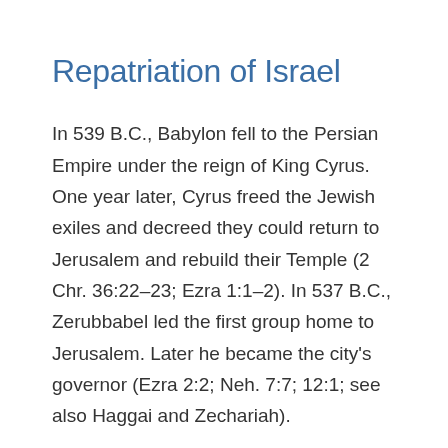Repatriation of Israel
In 539 B.C., Babylon fell to the Persian Empire under the reign of King Cyrus. One year later, Cyrus freed the Jewish exiles and decreed they could return to Jerusalem and rebuild their Temple (2 Chr. 36:22–23; Ezra 1:1–2). In 537 B.C., Zerubbabel led the first group home to Jerusalem. Later he became the city's governor (Ezra 2:2; Neh. 7:7; 12:1; see also Haggai and Zechariah).
Under his able leadership, 49,897 exiles returned (Ezra 2:64–65; Neh. 7). Upon their